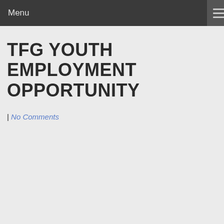Menu
TFG YOUTH EMPLOYMENT OPPORTUNITY
| No Comments